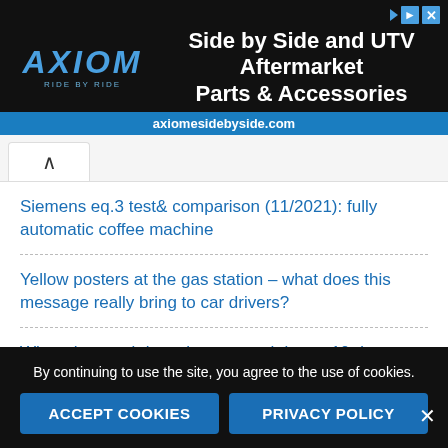[Figure (illustration): Axiom Ride by Ride advertisement banner: dark background with ATV wheel imagery, Axiom logo on left, headline 'Side by Side and UTV Aftermarket Parts & Accessories' in center, blue URL bar at bottom showing axiomesidebyside.com, close button top right]
Siemens eq.3 test& comparison (11/2021): fully automatic coffee machine
Yellow posters at the gas station – what does this message really bring to car drivers?
When the repair is no longer worth it: top 10 damages
Online car loan
By continuing to use the site, you agree to the use of cookies.
ACCEPT COOKIES   PRIVACY POLICY